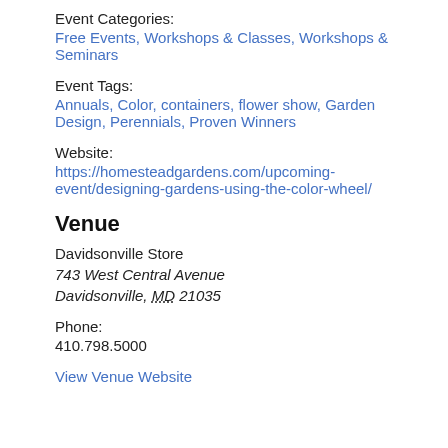Event Categories:
Free Events, Workshops & Classes, Workshops & Seminars
Event Tags:
Annuals, Color, containers, flower show, Garden Design, Perennials, Proven Winners
Website:
https://homesteadgardens.com/upcoming-event/designing-gardens-using-the-color-wheel/
Venue
Davidsonville Store
743 West Central Avenue
Davidsonville, MD 21035
Phone:
410.798.5000
View Venue Website